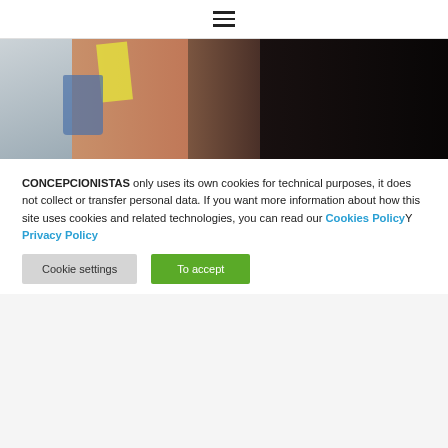☰ (hamburger menu icon)
[Figure (photo): A cropped hero image showing a woman with a guitar/instrument, a fan on the left side, a yellow notepad, against a dark background on the right.]
CONCEPCIONISTAS only uses its own cookies for technical purposes, it does not collect or transfer personal data. If you want more information about how this site uses cookies and related technologies, you can read our Cookies Policy Y Privacy Policy
Cookie settings
To accept